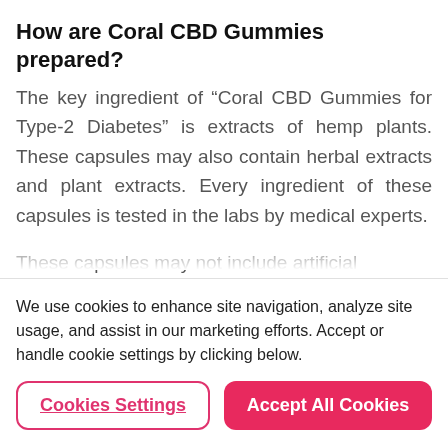How are Coral CBD Gummies prepared?
The key ingredient of “Coral CBD Gummies for Type-2 Diabetes” is extracts of hemp plants. These capsules may also contain herbal extracts and plant extracts. Every ingredient of these capsules is tested in the labs by medical experts.
These capsules may not include artificial
We use cookies to enhance site navigation, analyze site usage, and assist in our marketing efforts. Accept or handle cookie settings by clicking below.
Cookies Settings
Accept All Cookies